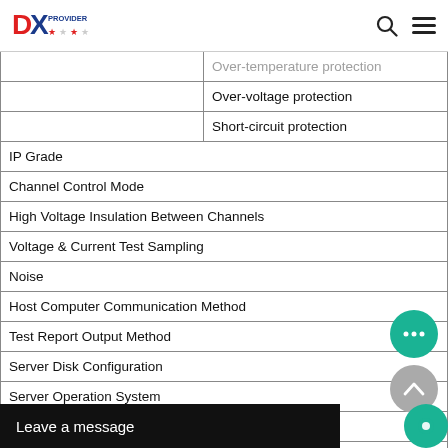DX Provider logo with search and menu icons
|  | Over-temperature protection |
|  | Over-voltage protection |
|  | Short-circuit protection |
| IP Grade |  |
| Channel Control Mode |  |
| High Voltage Insulation Between Channels |  |
| Voltage & Current Test Sampling |  |
| Noise |  |
| Host Computer Communication Method |  |
| Test Report Output Method |  |
| Server Disk Configuration |  |
| Server Operation System |  |
| Communication Port |  |
| Equipment Work Ambient Conditions |  |
| Operation Ambient T... |  |